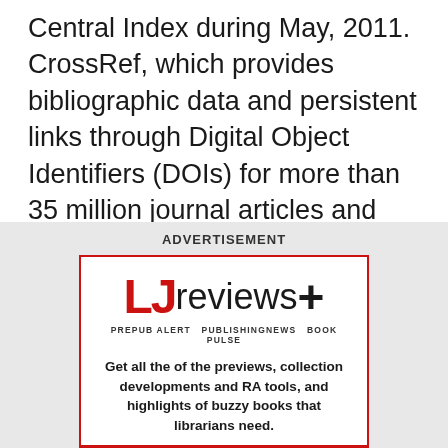Central Index during May, 2011. CrossRef, which provides bibliographic data and persistent links through Digital Object Identifiers (DOIs) for more than 35 million journal articles and other scholarly content. BioOne, which provides access to critical, peer-reviewed research in the biological, […]
ADVERTISEMENT
[Figure (other): LJ reviews+ advertisement. Logo shows 'LJ' in red bold text followed by 'reviews+' in black. Tagline: 'PREPUB ALERT PUBLISHINGNEWS BOOK PULSE'. Body text: 'Get all the of the previews, collection developments and RA tools, and highlights of buzzy books that librarians need.' Red bar at bottom reading 'SIGN UP, IT'S FREE!!']